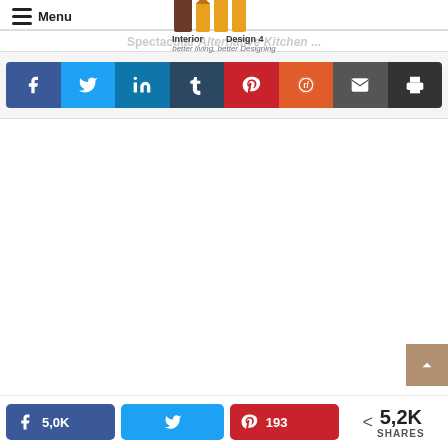Interior Design 4 — better living, better Designing
[Figure (logo): Interior Design 4 logo with geometric M/D shape in brown and orange tones, tagline: better living, better Designing]
[Figure (infographic): Social share buttons row: Facebook (blue), Twitter (cyan), LinkedIn (teal), Tumblr (dark navy), Pinterest (red), Reddit (orange), Email (dark gray), Print (dark)]
[Figure (infographic): Bottom share bar: Facebook 5,0K | Twitter (bird icon) | Pinterest 193 | Share < 5,2K SHARES]